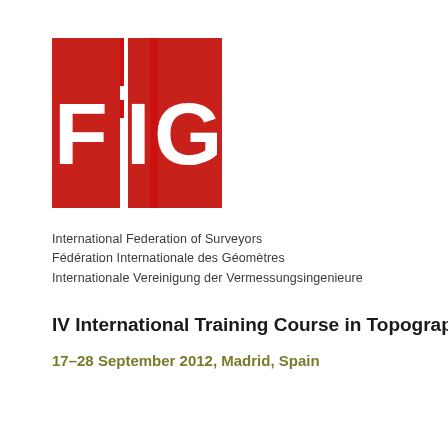[Figure (logo): FIG logo - red rectangles forming F, I, G letters in white on red background]
International Federation of Surveyors
Fédération Internationale des Géomètres
Internationale Vereinigung der Vermessungsingenieure
IV International Training Course in Topography
17–28 September 2012, Madrid, Spain